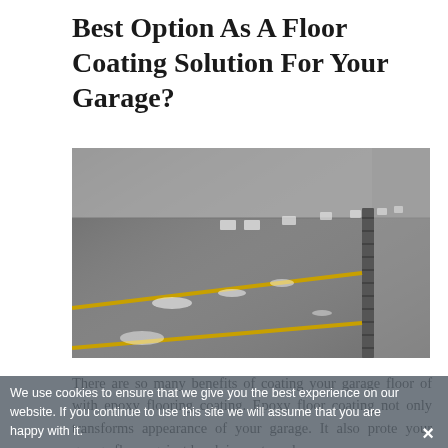Best Option As A Floor Coating Solution For Your Garage?
[Figure (photo): A large garage interior with a shiny epoxy-coated grey floor featuring yellow painted lines and a drainage grate on the right side. Ceiling lights reflect brightly off the glossy surface.]
There are so many benefits of coating your garage floor of with epoxy flooring coating. Epoxy floor coating not only transforms appearance of your garage. It also protects your garage floor against harsh impacts and
We use cookies to ensure that we give you the best experience on our website. If you continue to use this site we will assume that you are happy with it.